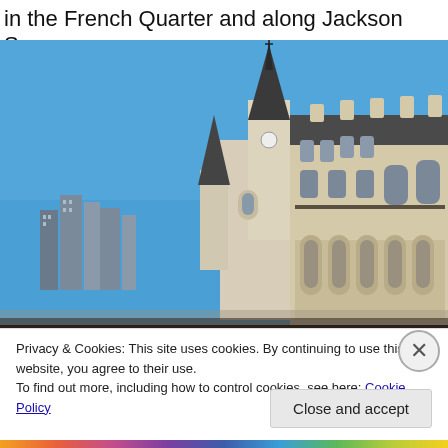in the French Quarter and along Jackson Square.
[Figure (photo): Photograph of St. Louis Cathedral and adjacent Pontalba Buildings at Jackson Square in New Orleans, Louisiana, taken from ground level against a clear blue sky. The tall central steeple of the cathedral dominates the center of the image, with a smaller steeple to its left. The ornate cream/beige Pontalba Building with arched colonnades is visible on the right. City skyscrapers are visible in the background on the lower left.]
Privacy & Cookies: This site uses cookies. By continuing to use this website, you agree to their use.
To find out more, including how to control cookies, see here: Cookie Policy
Close and accept